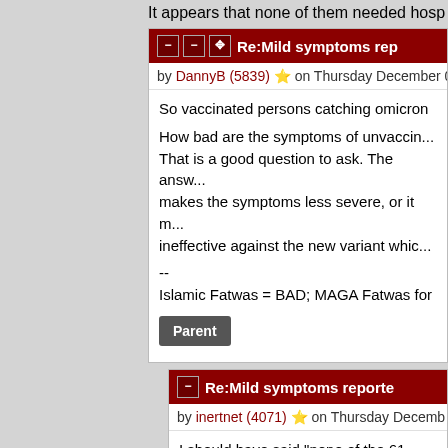It appears that none of them needed hosp
Re:Mild symptoms rep
by DannyB (5839) ⭐ on Thursday December 0
So vaccinated persons catching omicron

How bad are the symptoms of unvaccin... That is a good question to ask. The answ... makes the symptoms less severe, or it m... ineffective against the new variant whic...

--
Islamic Fatwas = BAD; MAGA Fatwas for
Parent
Re:Mild symptoms reporte
by inertnet (4071) ⭐ on Thursday Decemb
I should have said "none of the 61 ne... the vaccinated.
Parent